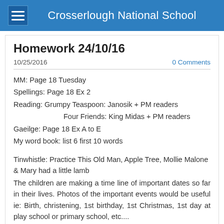Crosserlough National School
Homework 24/10/16
10/25/2016
0 Comments
MM: Page 18 Tuesday
Spellings: Page 18 Ex 2
Reading: Grumpy Teaspoon: Janosik + PM readers
Four Friends: King Midas + PM readers
Gaeilge: Page 18 Ex A to E
My word book: list 6 first 10 words
Tinwhistle: Practice This Old Man, Apple Tree, Mollie Malone & Mary had a little lamb
The children are making a time line of important dates so far in their lives. Photos of the important events would be useful ie: Birth, christening, 1st birthday, 1st Christmas, 1st day at play school or primary school, etc....